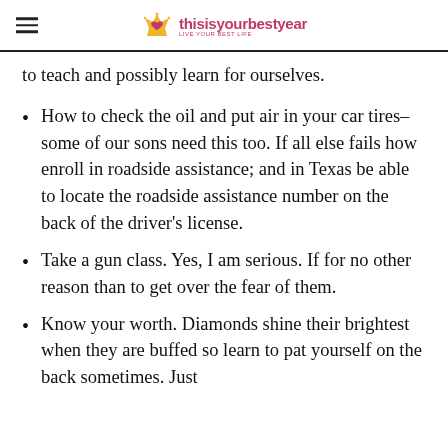thisisyourbestyear
to teach and possibly learn for ourselves.
How to check the oil and put air in your car tires–some of our sons need this too. If all else fails how enroll in roadside assistance; and in Texas be able to locate the roadside assistance number on the back of the driver's license.
Take a gun class. Yes, I am serious. If for no other reason than to get over the fear of them.
Know your worth. Diamonds shine their brightest when they are buffed so learn to pat yourself on the back sometimes. Just